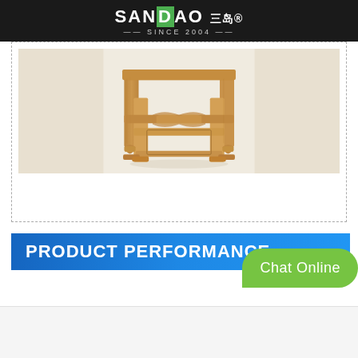SANDAO 三岛 SINCE 2004
[Figure (photo): Photograph of a wooden stool or small table base with natural light wood color, showing hexagonal/octagonal frame construction with carved decorative elements on a white background. The image has a dashed border around it.]
PRODUCT PERFORMANCE
Chat Online